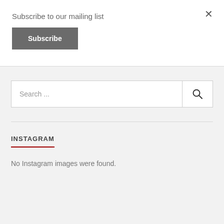Subscribe to our mailing list
Subscribe
×
Search ...
INSTAGRAM
No Instagram images were found.